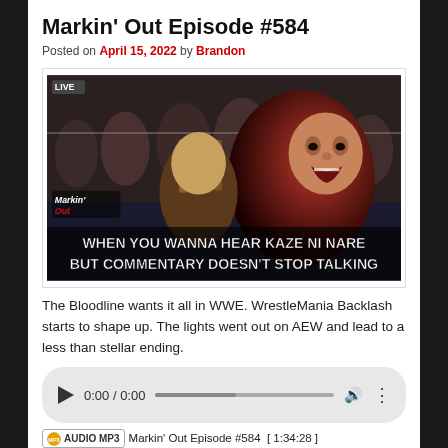Markin' Out Episode #584
Posted on April 15, 2022 by Brandon
[Figure (screenshot): Wrestling screenshot with two men face to face, overlaid text: WHEN YOU WANNA HEAR KAZE NI NARE BUT COMMENTARY DOESN'T STOP TALKING. Markin' Out logo visible.]
The Bloodline wants it all in WWE. WrestleMania Backlash starts to shape up. The lights went out on AEW and lead to a less than stellar ending.
Audio player: 0:00 / 0:00
AUDIO MP3  Markin' Out Episode #584  [ 1:34:28 ]  Hide Player | Play in Popup | Download